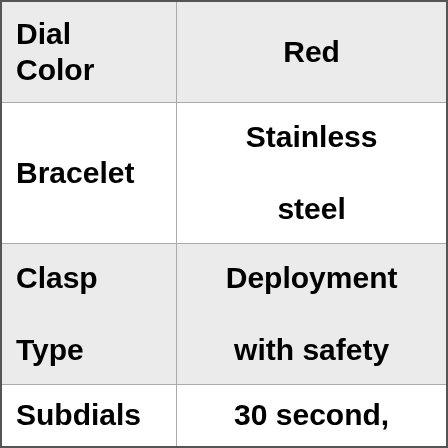| Attribute | Value |
| --- | --- |
| Dial Color | Red |
| Bracelet | Stainless steel |
| Clasp Type | Deployment with safety |
| Subdials | 30 second, |